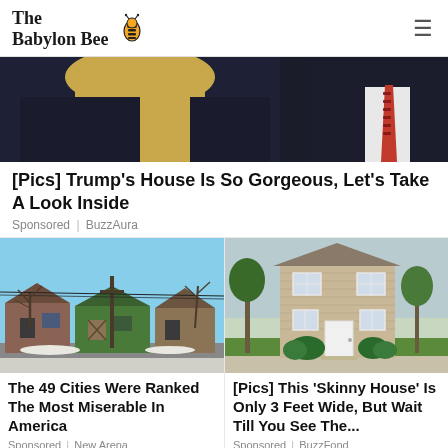The Babylon Bee
[Figure (photo): Partial view of people in dark blazers/suits, one wearing a red patterned tie — top of a sponsored article image]
[Pics] Trump's House Is So Gorgeous, Let's Take A Look Inside
Sponsored | BuzzAura
[Figure (photo): Dilapidated abandoned houses in a city street in winter with bare trees and a utility pole]
The 49 Cities Were Ranked The Most Miserable In America
Sponsored | New Arena
[Figure (photo): A narrow two-story beige/tan house with white trim and door, surrounded by green shrubs and trees]
[Pics] This 'Skinny House' Is Only 3 Feet Wide, But Wait Till You See The...
Sponsored | BuzzFond